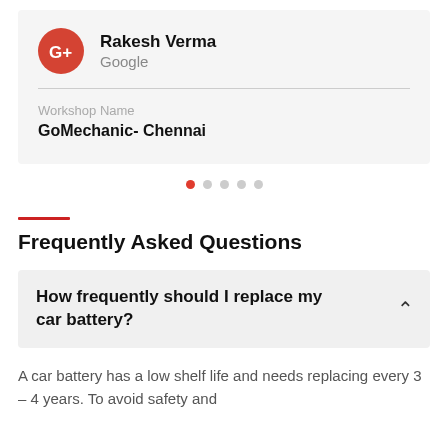[Figure (other): Google+ reviewer card showing Rakesh Verma from Google, with workshop name GoMechanic- Chennai]
Workshop Name
GoMechanic- Chennai
● ○ ○ ○ ○ (carousel dots)
Frequently Asked Questions
How frequently should I replace my car battery?
A car battery has a low shelf life and needs replacing every 3 – 4 years. To avoid safety and